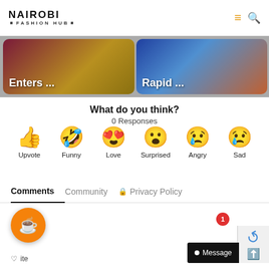NAIROBI FASHION HUB
[Figure (screenshot): Two article thumbnail images side by side: left shows 'Enters ...' on a colorful background, right shows 'Rapid ...' on a printed fabric background]
What do you think?
0 Responses
[Figure (infographic): Six emoji reaction buttons in a row: Upvote (thumbs up), Funny (laughing face with tongue), Love (heart eyes), Surprised (astonished face), Angry (crying face), Sad (sad face with tear)]
Comments
Community
Privacy Policy